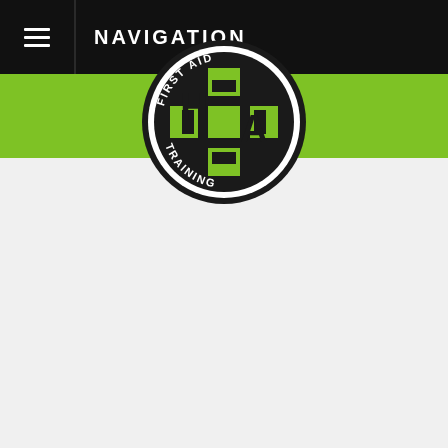NAVIGATION
[Figure (logo): HA First Aid Training circular logo with green and black colors, showing 'H' and 'A' letters with a cross symbol, text reading FIRST AID around the top and TRAINING around the bottom]